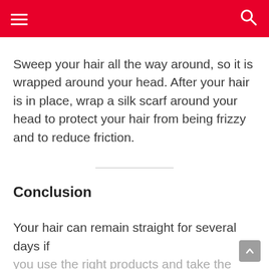Navigation header with hamburger menu and search icon
Sweep your hair all the way around, so it is wrapped around your head. After your hair is in place, wrap a silk scarf around your head to protect your hair from being frizzy and to reduce friction.
Conclusion
Your hair can remain straight for several days if you use the right products and take the necessary steps. When straightening your hair, use a heat